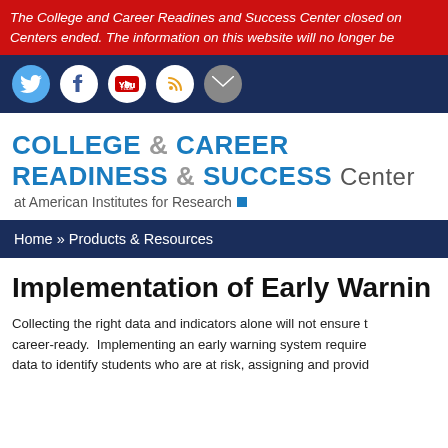The College and Career Readines and Success Center closed on Centers ended. The information on this website will no longer be
[Figure (infographic): Social media icons bar with Twitter, Facebook, YouTube, RSS, and Email icons on a navy background]
[Figure (logo): College & Career Readiness & Success Center at American Institutes for Research logo]
Home » Products & Resources
Implementation of Early Warning
Collecting the right data and indicators alone will not ensure that students are college- and career-ready. Implementing an early warning system requires using data to identify students who are at risk, assigning and providing